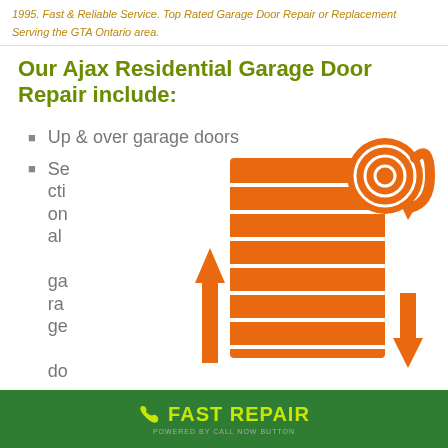1995. Fast & Reliable Service. Top Rated Garage Door Repair or Replacement Serving the GTA Ontario area.
Our Ajax Residential Garage Door Repair include:
Up & over garage doors
Sectional garage door
[Figure (illustration): Orange icon of a sectional garage door rolling up and down with arrows indicating movement directions]
FAST REPAIR
POWERED BY CALL NOW BUTTON